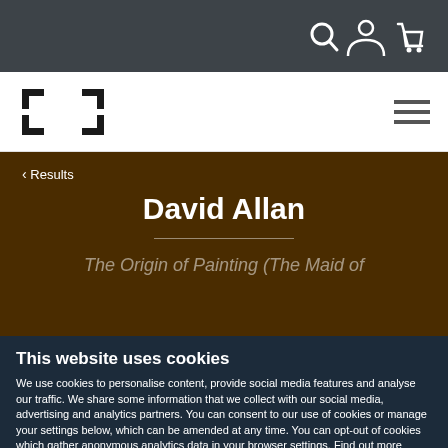[Figure (screenshot): Website top navigation bar with dark background showing search icon, user/account icon, and shopping cart icon on the right side]
[Figure (logo): Company logo (abstract square bracket/frame icon) on white navigation bar with hamburger menu icon on the right]
< Results
David Allan
The Origin of Painting (The Maid of
This website uses cookies
We use cookies to personalise content, provide social media features and analyse our traffic. We share some information that we collect with our social media, advertising and analytics partners. You can consent to our use of cookies or manage your settings below, which can be amended at any time. You can opt-out of cookies which gather anonymous analytics data in your browser settings. Find out more about our use of cookies.
OK
Settings